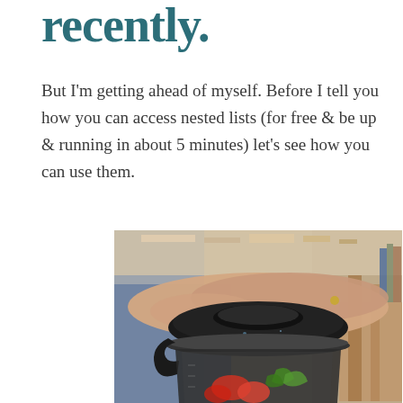recently.
But I'm getting ahead of myself. Before I tell you how you can access nested lists (for free & be up & running in about 5 minutes) let's see how you can use them.
[Figure (photo): A hand pressing down on the lid of a blender containing strawberries and green vegetables, with a blurred kitchen background.]